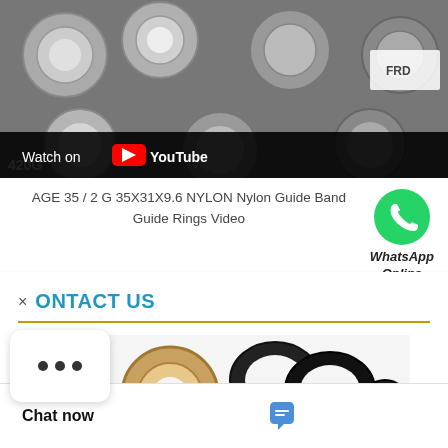[Figure (photo): YouTube video thumbnail showing multiple metallic guide rings/seals in plastic packaging, with 'FRD' label visible. A dark YouTube player bar overlays the bottom with 'Watch on YouTube' text and logo. Text '420G' is visible on the lower left of the image.]
AGE 35 / 2 G 35X31X9.6 NYLON Nylon Guide Band Guide Rings Video
[Figure (logo): WhatsApp green phone icon logo with 'WhatsApp Online' label below]
× CONTACT US
[Figure (photo): Product images of guide rings/seals: one brown/tan colored ring and multiple black O-rings side by side]
Chat now